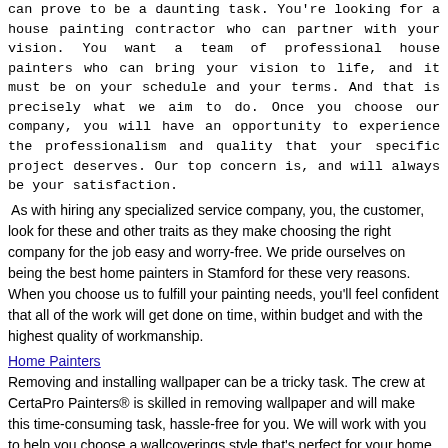can prove to be a daunting task. You're looking for a house painting contractor who can partner with your vision. You want a team of professional house painters who can bring your vision to life, and it must be on your schedule and your terms. And that is precisely what we aim to do. Once you choose our company, you will have an opportunity to experience the professionalism and quality that your specific project deserves. Our top concern is, and will always be your satisfaction.
As with hiring any specialized service company, you, the customer, look for these and other traits as they make choosing the right company for the job easy and worry-free. We pride ourselves on being the best home painters in Stamford for these very reasons. When you choose us to fulfill your painting needs, you'll feel confident that all of the work will get done on time, within budget and with the highest quality of workmanship.
Home Painters [link] Removing and installing wallpaper can be a tricky task. The crew at CertaPro Painters® is skilled in removing wallpaper and will make this time-consuming task, hassle-free for you. We will work with you to help you choose a wallcoverings style that's perfect for your home, and then apply it to your walls. All you'll have to do is enjoy the final look. Home Painters [link]
High Tech Construction-Brownstone Facade Restoration, Exterior